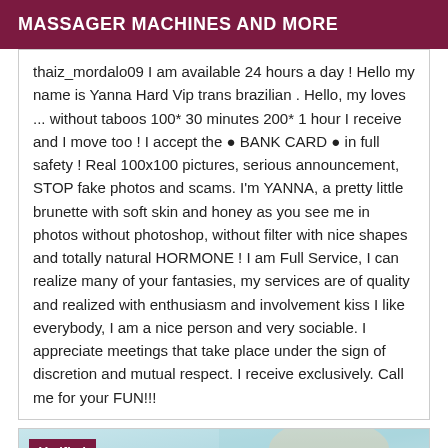MASSAGER MACHINES AND MORE
thaiz_mordalo09 I am available 24 hours a day ! Hello my name is Yanna Hard Vip trans brazilian . Hello, my loves ... without taboos 100* 30 minutes 200* 1 hour I receive and I move too ! I accept the ● BANK CARD ● in full safety ! Real 100x100 pictures, serious announcement, STOP fake photos and scams. I'm YANNA, a pretty little brunette with soft skin and honey as you see me in photos without photoshop, without filter with nice shapes and totally natural HORMONE ! I am Full Service, I can realize many of your fantasies, my services are of quality and realized with enthusiasm and involvement kiss I like everybody, I am a nice person and very sociable. I appreciate meetings that take place under the sign of discretion and mutual respect. I receive exclusively. Call me for your FUN!!!
[Figure (photo): Verified badge over a photo showing a blonde person, partial view, with a light blue/teal background]